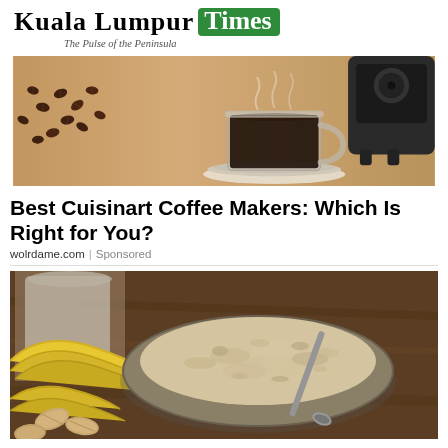Kuala Lumpur Times — The Pulse of the Peninsula
[Figure (photo): Coffee beans scattered on a wooden surface with a glass cup of black coffee and a black coffee machine in the background]
Best Cuisinart Coffee Makers: Which Is Right for You?
wolrdame.com | Sponsored
[Figure (photo): A ceramic bowl of oatmeal with a spoon, surrounded by bananas and almonds on a wooden surface]